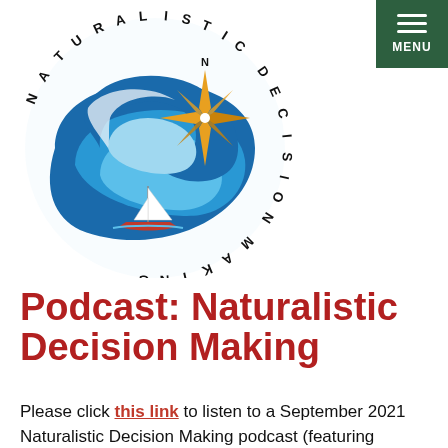[Figure (logo): Naturalistic Decision Making podcast logo: a circular ocean wave with a compass star and a small sailboat, with text 'NATURALISTIC DECISION MAKING' curved around the circle.]
MENU
Podcast: Naturalistic Decision Making
Please click this link to listen to a September 2021 Naturalistic Decision Making podcast (featuring